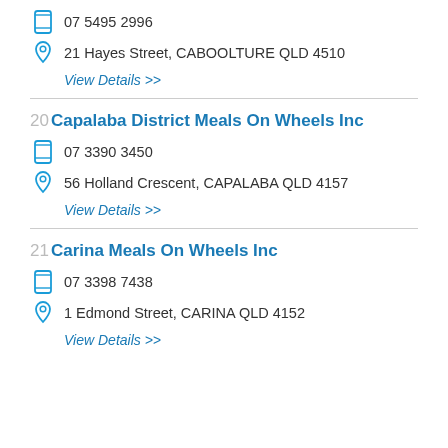07 5495 2996
21 Hayes Street, CABOOLTURE QLD 4510
View Details >>
20 Capalaba District Meals On Wheels Inc
07 3390 3450
56 Holland Crescent, CAPALABA QLD 4157
View Details >>
21 Carina Meals On Wheels Inc
07 3398 7438
1 Edmond Street, CARINA QLD 4152
View Details >>